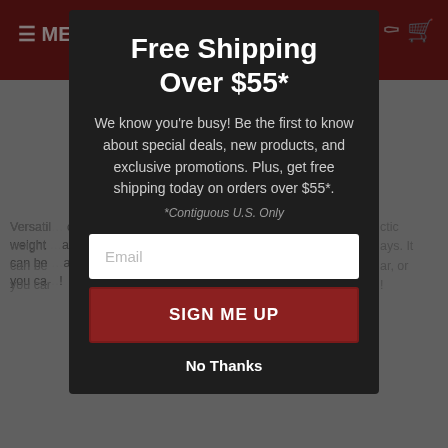[Figure (screenshot): Background website page with dark red navigation bar showing hamburger menu and cart icons, partially visible product description text and bullet list, dimmed by overlay.]
Free Shipping Over $55*
We know you're busy! Be the first to know about special deals, new products, and exclusive promotions. Plus, get free shipping today on orders over $55*.
*Contiguous U.S. Only
Email (input field placeholder)
SIGN ME UP
No Thanks